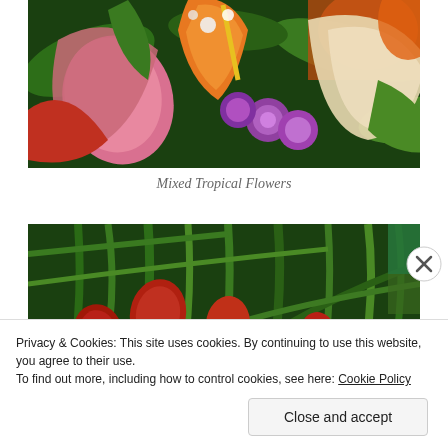[Figure (photo): Close-up photo of mixed tropical flowers including pink anthuriums, purple orchids, orange heliconia, and green foliage]
Mixed Tropical Flowers
[Figure (photo): Close-up photo of red tropical flowers with green leaves and stems, including red anthuriums]
Privacy & Cookies: This site uses cookies. By continuing to use this website, you agree to their use.
To find out more, including how to control cookies, see here: Cookie Policy